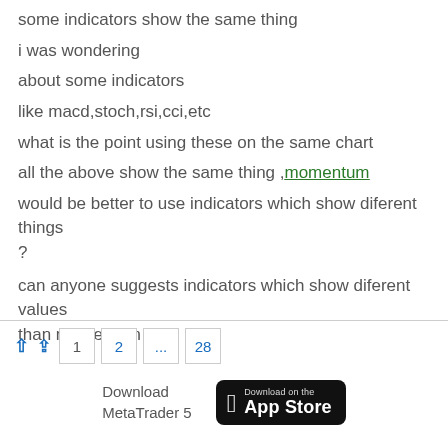some indicators show the same thing
i was wondering
about some indicators
like macd,stoch,rsi,cci,etc
what is the point using these on the same chart
all the above show the same thing ,momentum
would be better to use indicators which show diferent things ?
can anyone suggests indicators which show diferent values than momentum ?
1 2 ... 28
Download MetaTrader 5  Download on the App Store